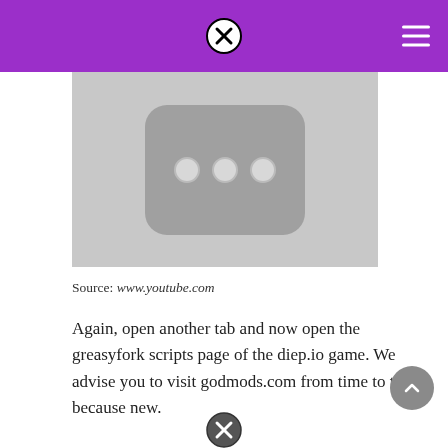[Figure (screenshot): Screenshot of YouTube app icon showing three white dots on a dark rounded-rectangle background, on a light gray background]
Source: www.youtube.com
Again, open another tab and now open the greasyfork scripts page of the diep.io game. We advise you to visit godmods.com from time to time because new.